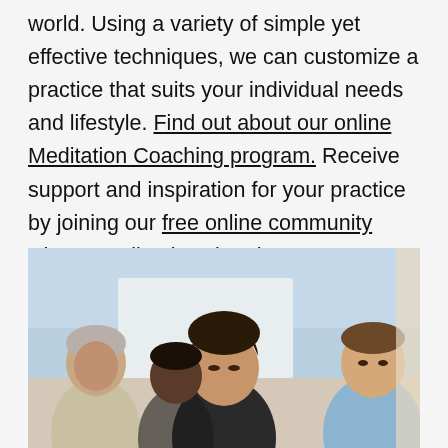world. Using a variety of simple yet effective techniques, we can customize a practice that suits your individual needs and lifestyle. Find out about our online Meditation Coaching program. Receive support and inspiration for your practice by joining our free online community where you'll enjoy virtual Group Meditations and other inspiring content.
[Figure (photo): Group of people meditating together — an older man on the left, a woman with eyes closed in the center, and a young man on the right, against a light blue background.]